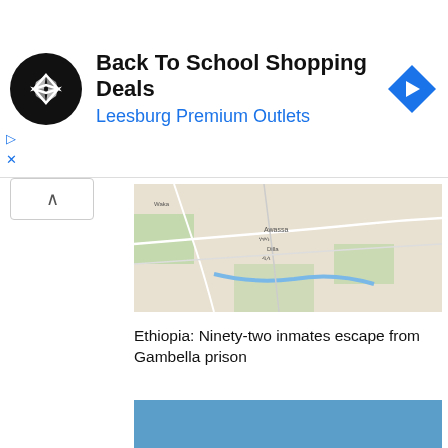[Figure (infographic): Advertisement banner: circular black logo with white infinity-like diamond shapes, text 'Back To School Shopping Deals' in bold and 'Leesburg Premium Outlets' in blue, blue navigation diamond icon on right. Ad controls (play/close) on bottom left.]
[Figure (map): Map screenshot showing road map of Gambella area in Ethiopia with green areas and roads visible.]
Ethiopia: Ninety-two inmates escape from Gambella prison
[Figure (photo): Aerial photograph of a sandy beach shoreline with shallow turquoise water and small green trees or bushes on a sandy spit, blue sky above.]
70 Ethiopians dead after boat capsizes in Red Sea
[Figure (photo): Partial bottom strip showing beginning of another image, appears to show people.]